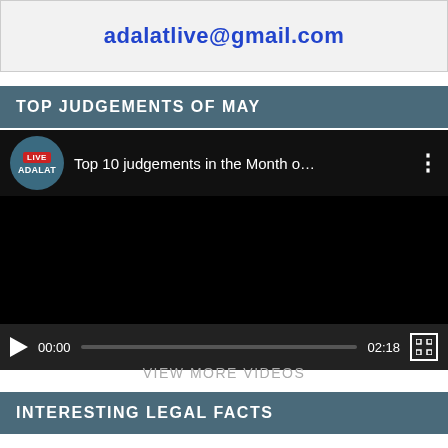[Figure (screenshot): Banner with email address adalatlive@gmail.com in bold blue text on light gray background]
TOP JUDGEMENTS OF MAY
[Figure (screenshot): Video player showing 'Top 10 judgements in the Month o...' with LIVE ADALAT channel logo, black video area, play button, time 00:00, progress bar, duration 02:18, and fullscreen button]
VIEW MORE VIDEOS
INTERESTING LEGAL FACTS